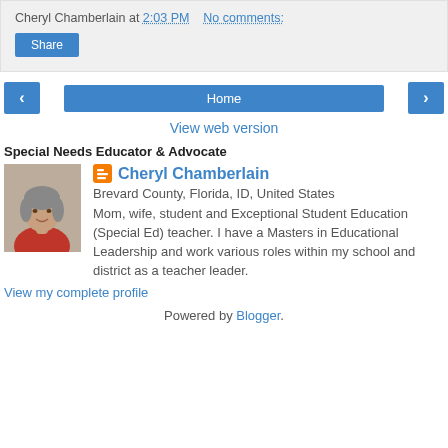Cheryl Chamberlain at 2:03 PM   No comments:
Share
‹   Home   ›
View web version
Special Needs Educator & Advocate
[Figure (photo): Profile photo of Cheryl Chamberlain]
Cheryl Chamberlain
Brevard County, Florida, ID, United States
Mom, wife, student and Exceptional Student Education (Special Ed) teacher. I have a Masters in Educational Leadership and work various roles within my school and district as a teacher leader.
View my complete profile
Powered by Blogger.